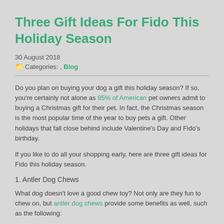Three Gift Ideas For Fido This Holiday Season
30 August 2018
Categories: , Blog
Do you plan on buying your dog a gift this holiday season? If so, you're certainly not alone as 95% of American pet owners admit to buying a Christmas gift for their pet. In fact, the Christmas season is the most popular time of the year to buy pets a gift. Other holidays that fall close behind include Valentine's Day and Fido's birthday.
If you like to do all your shopping early, here are three gift ideas for Fido this holiday season.
1. Antler Dog Chews
What dog doesn't love a good chew toy? Not only are they fun to chew on, but antler dog chews provide some benefits as well, such as the following:
For puppies, they can help relieve the pain and pressure caused by getting